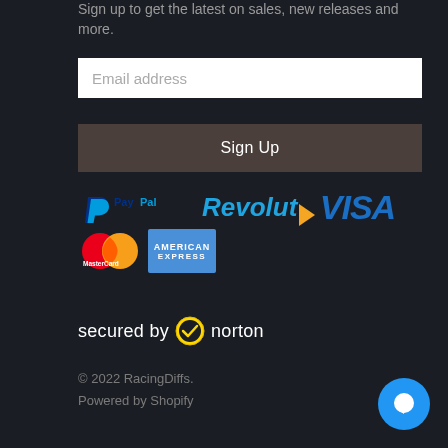Sign up to get the latest on sales, new releases and more.
[Figure (screenshot): Email address input field (white rectangle)]
[Figure (screenshot): Sign Up button (dark brownish-gray rectangle)]
[Figure (logo): Payment method logos: PayPal, Revolut, VISA, MasterCard, American Express]
[Figure (logo): Secured by Norton logo with checkmark badge]
© 2022 RacingDiffs. Powered by Shopify